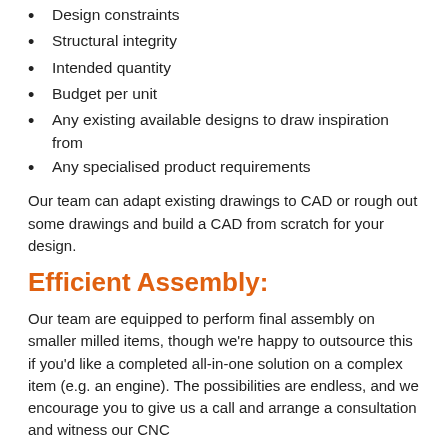Design constraints
Structural integrity
Intended quantity
Budget per unit
Any existing available designs to draw inspiration from
Any specialised product requirements
Our team can adapt existing drawings to CAD or rough out some drawings and build a CAD from scratch for your design.
Efficient Assembly:
Our team are equipped to perform final assembly on smaller milled items, though we’re happy to outsource this if you’d like a completed all-in-one solution on a complex item (e.g. an engine). The possibilities are endless, and we encourage you to give us a call and arrange a consultation and witness our CNC